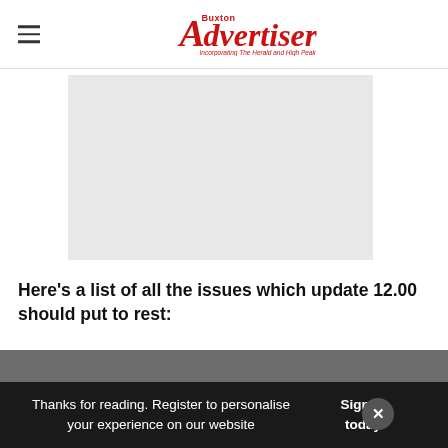Buxton Advertiser — Incorporating The Herald and High Peak News
[Figure (photo): Grey placeholder image for article photo]
Here's a list of all the issues which update 12.00 should put to rest:
- Crash when selecting the Controller settings
Thanks for reading. Register to personalise your experience on our website  Sign in today